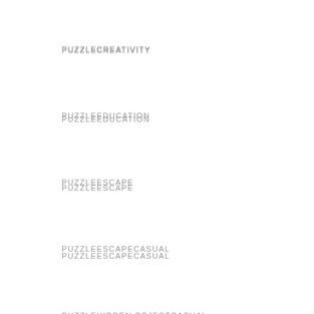PUZZLECREATIVITY
PUZZLEEDUCATION
PUZZLEESCAPE
PUZZLEESCAPECASUAL
PUZZLEHIDDEN OBJECTCASUAL
PUZZLEJIGSAW
PUZZLEJIGSAWCASUAL
PUZZLELOGICCASUAL
PUZZLEMATCH 3
PUZZLEMATCH 3CASUAL
PUZZLEMATCH 3MATCH 3 ADVENTURECASUAL